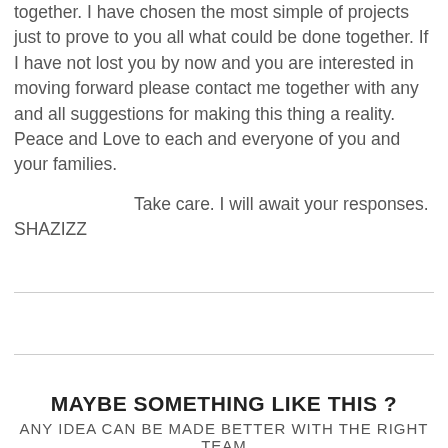together. I have chosen the most simple of projects just to prove to you all what could be done together. If I have not lost you by now and you are interested in moving forward please contact me together with any and all suggestions for making this thing a reality. Peace and Love to each and everyone of you and your families.
Take care. I will await your responses.
SHAZIZZ
MAYBE SOMETHING LIKE THIS ?
ANY IDEA CAN BE MADE BETTER WITH THE RIGHT TEAM